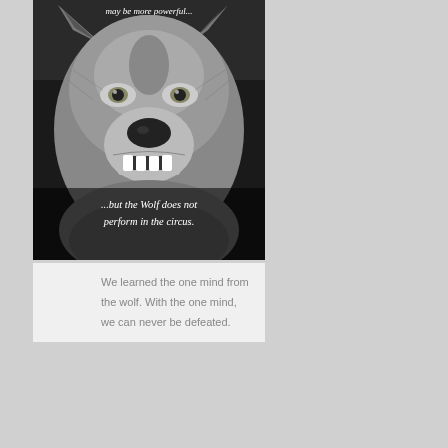[Figure (photo): Black and white close-up photograph of a snarling wolf with text overlay at top reading 'may be more powerful...' and at bottom reading '...but the Wolf does not perform in the circus.']
We learned the one mind from the wolf. With the one mind, we can never be defeated.